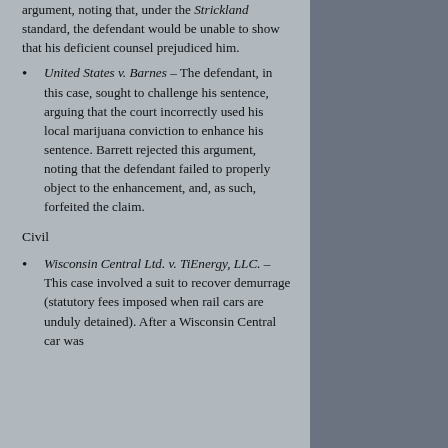argument, noting that, under the Strickland standard, the defendant would be unable to show that his deficient counsel prejudiced him.
United States v. Barnes – The defendant, in this case, sought to challenge his sentence, arguing that the court incorrectly used his local marijuana conviction to enhance his sentence. Barrett rejected this argument, noting that the defendant failed to properly object to the enhancement, and, as such, forfeited the claim.
Civil
Wisconsin Central Ltd. v. TiEnergy, LLC. – This case involved a suit to recover demurrage (statutory fees imposed when rail cars are unduly detained). After a Wisconsin Central car was